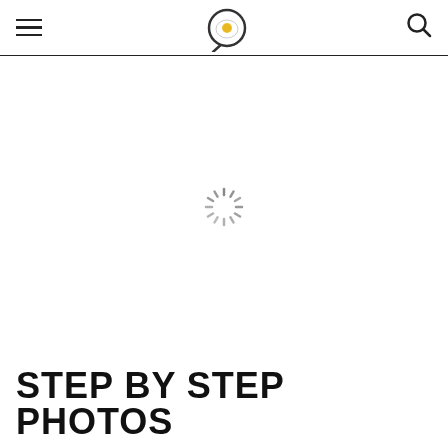Navigation header with hamburger menu, frying pan logo, and search icon
[Figure (illustration): A loading spinner (circular dashed spinner animation indicator) centered in a large white area]
STEP BY STEP PHOTOS